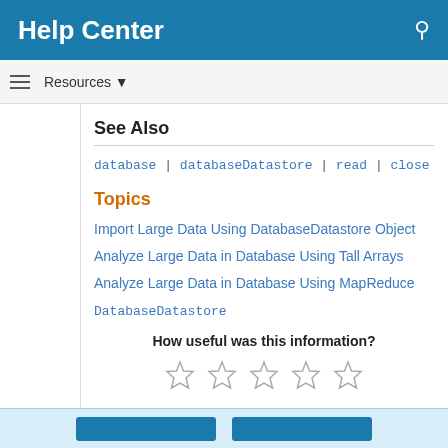Help Center
See Also
database | databaseDatastore | read | close
Topics
Import Large Data Using DatabaseDatastore Object
Analyze Large Data in Database Using Tall Arrays
Analyze Large Data in Database Using MapReduce
DatabaseDatastore
How useful was this information?